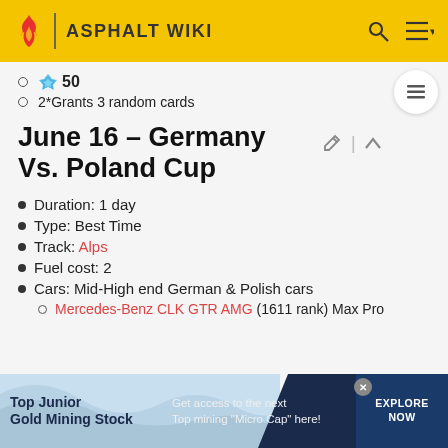ASPHALT WIKI
50 (gem icon)
2*Grants 3 random cards
June 16 - Germany Vs. Poland Cup
Duration: 1 day
Type: Best Time
Track: Alps
Fuel cost: 2
Cars: Mid-High end German & Polish cars
Mercedes-Benz CLK GTR AMG (1611 rank) Max Pro